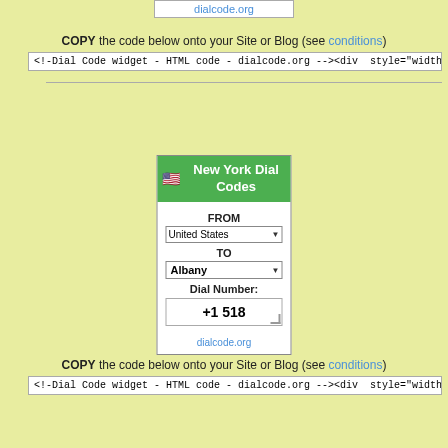[Figure (screenshot): Widget top box showing dialcode.org link]
COPY the code below onto your Site or Blog (see conditions)
<!--Dial Code widget - HTML code - dialcode.org --><div  style="width:114px; back
[Figure (screenshot): New York Dial Codes widget with FROM: United States, TO: Albany, Dial Number: +1 518, and dialcode.org footer]
COPY the code below onto your Site or Blog (see conditions)
<!--Dial Code widget - HTML code - dialcode.org --><div  style="width:119px; back